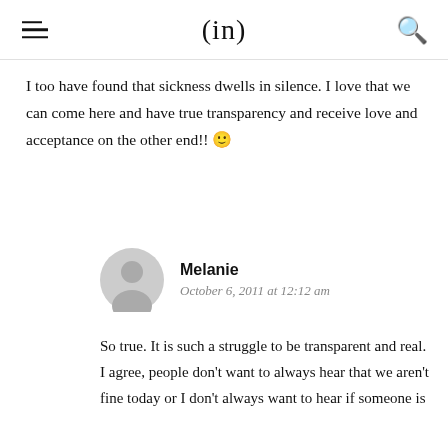(in)
I too have found that sickness dwells in silence. I love that we can come here and have true transparency and receive love and acceptance on the other end!! 🙂
Melanie
October 6, 2011 at 12:12 am
So true. It is such a struggle to be transparent and real. I agree, people don't want to always hear that we aren't fine today or I don't always want to hear if someone is